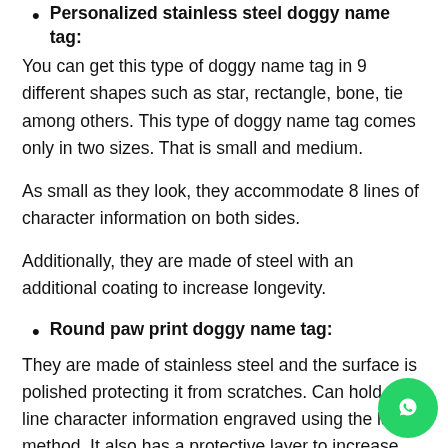Personalized stainless steel doggy name tag:
You can get this type of doggy name tag in 9 different shapes such as star, rectangle, bone, tie among others. This type of doggy name tag comes only in two sizes. That is small and medium.
As small as they look, they accommodate 8 lines of character information on both sides.
Additionally, they are made of steel with an additional coating to increase longevity.
Round paw print doggy name tag:
They are made of stainless steel and the surface is polished protecting it from scratches. Can hold 4-line character information engraved using the laser method. It also has a protective layer to increase durability.